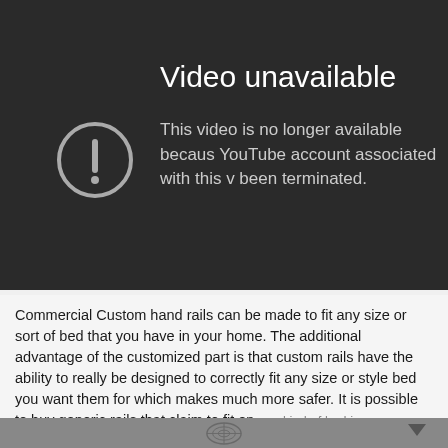[Figure (screenshot): YouTube 'Video unavailable' error screen on dark background with circular exclamation icon. Title reads 'Video unavailable'. Message reads 'This video is no longer available because the YouTube account associated with this video has been terminated.']
Commercial Custom hand rails can be made to fit any size or sort of bed that you have in your home. The additional advantage of the customized part is that custom rails have the ability to really be designed to correctly fit any size or style bed you want them for which makes much more safer. It is possible to buy generic rails that claim to fit on any kind of bed in your room. Nevertheless, the semi-may
[Figure (logo): App navigation bar with logo icon and download arrow icon]